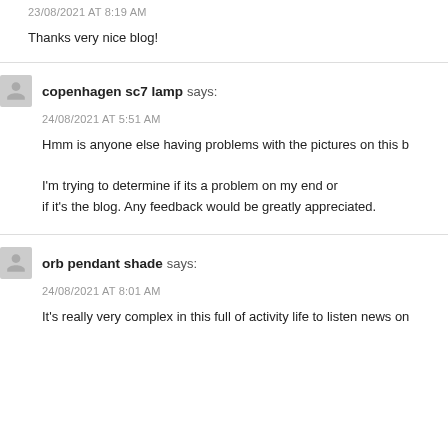23/08/2021 AT 8:19 AM
Thanks very nice blog!
copenhagen sc7 lamp says:
24/08/2021 AT 5:51 AM
Hmm is anyone else having problems with the pictures on this b
I'm trying to determine if its a problem on my end or if it's the blog. Any feedback would be greatly appreciated.
orb pendant shade says:
24/08/2021 AT 8:01 AM
It's really very complex in this full of activity life to listen news on